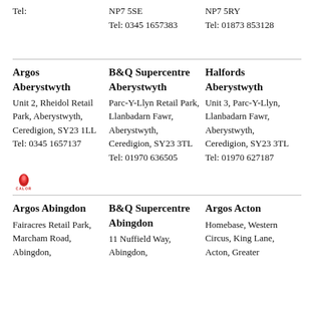Tel:
NP7 5SE
Tel: 0345 1657383
NP7 5RY
Tel: 01873 853128
Argos Aberystwyth
Unit 2, Rheidol Retail Park, Aberystwyth, Ceredigion, SY23 1LL
Tel: 0345 1657137
B&Q Supercentre Aberystwyth
Parc-Y-Llyn Retail Park, Llanbadarn Fawr, Aberystwyth, Ceredigion, SY23 3TL
Tel: 01970 636505
Halfords Aberystwyth
Unit 3, Parc-Y-Llyn, Llanbadarn Fawr, Aberystwyth, Ceredigion, SY23 3TL
Tel: 01970 627187
[Figure (logo): Calor gas logo - small red flame icon with CALOR text below]
Argos Abingdon
Fairacres Retail Park, Marcham Road, Abingdon,
B&Q Supercentre Abingdon
11 Nuffield Way, Abingdon,
Argos Acton
Homebase, Western Circus, King Lane, Acton, Greater London, W...